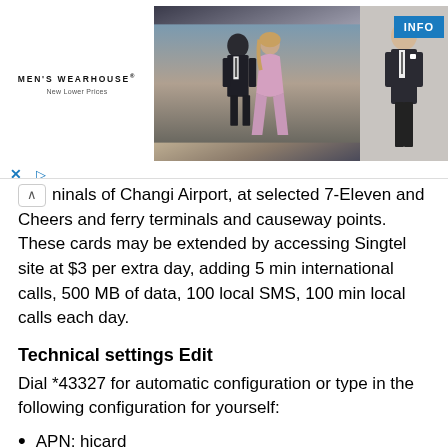[Figure (photo): Men's Wearhouse advertisement banner showing a couple in formal wear and a man in a suit, with an INFO button]
ninals of Changi Airport, at selected 7-Eleven and Cheers and ferry terminals and causeway points. These cards may be extended by accessing Singtel site at $3 per extra day, adding 5 min international calls, 500 MB of data, 100 local SMS, 100 min local calls each day.
Technical settings Edit
Dial *43327 for automatic configuration or type in the following configuration for yourself:
APN: hicard
enter *100*1# to check your card balance and expiry